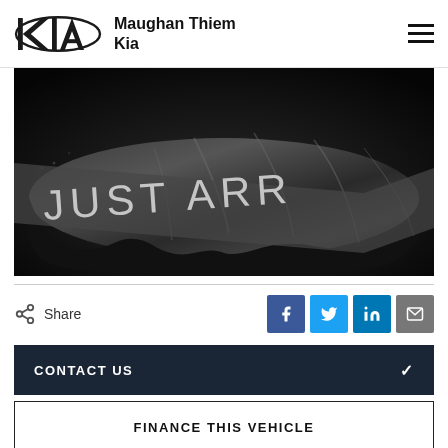Maughan Thiem Kia
[Figure (photo): Dark teaser image of a car covered under a black satin cloth with a diagonal banner overlay reading 'JUST ARR' (JUST ARRIVED, partially visible)]
Share
CONTACT US
FINANCE THIS VEHICLE